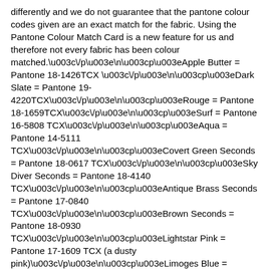differently and we do not guarantee that the pantone colour codes given are an exact match for the fabric. Using the Pantone Colour Match Card is a new feature for us and therefore not every fabric has been colour matched.\u003c\/p\u003e\n\u003cp\u003eApple Butter = Pantone 18-1426TCX \u003c\/p\u003e\n\u003cp\u003eDark Slate = Pantone 19-4220TCX\u003c\/p\u003e\n\u003cp\u003eRouge = Pantone 18-1659TCX\u003c\/p\u003e\n\u003cp\u003eSurf = Pantone 16-5808 TCX\u003c\/p\u003e\n\u003cp\u003eAqua = Pantone 14-5111 TCX\u003c\/p\u003e\n\u003cp\u003eCovert Green Seconds = Pantone 18-0617 TCX\u003c\/p\u003e\n\u003cp\u003eSky Diver Seconds = Pantone 18-4140 TCX\u003c\/p\u003e\n\u003cp\u003eAntique Brass Seconds = Pantone 17-0840 TCX\u003c\/p\u003e\n\u003cp\u003eBrown Seconds = Pantone 18-0930 TCX\u003c\/p\u003e\n\u003cp\u003eLightstar Pink = Pantone 17-1609 TCX (a dusty pink)\u003c\/p\u003e\n\u003cp\u003eLimoges Blue = Pantone 19-4044 TCX\u003c\/p\u003e\n\u003cp\u003eFresh Teal = Pantone 16-5721 TCX\u003c\/p\u003e\n\u003cp\u003eMetric Orange = Pantone 17-1456 TCX\u003c\/p\u003e\n\u003cp\u003e \u003c\/p\u003e","published_at":"2019-08-07T13:14:10-07:00","created_at":"2019-08-07T13:14:10-07:00","vendor":"Discovery Trekking Specialty Fabrics","type":"","tags":["Fabric","GST only Tax","Recycled","Shop By Activity, Cycling","Shop By